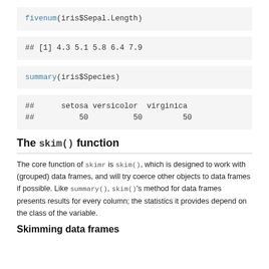fivenum(iris$Sepal.Length)
## [1] 4.3 5.1 5.8 6.4 7.9
summary(iris$Species)
##      setosa versicolor  virginica
##          50          50         50
The skim() function
The core function of skimr is skim(), which is designed to work with (grouped) data frames, and will try coerce other objects to data frames if possible. Like summary(), skim()'s method for data frames presents results for every column; the statistics it provides depend on the class of the variable.
Skimming data frames